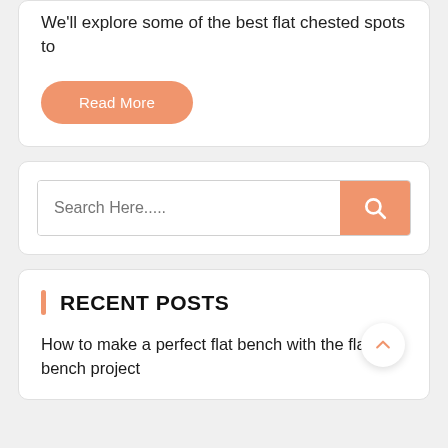We'll explore some of the best flat chested spots to
Read More
Search Here.....
RECENT POSTS
How to make a perfect flat bench with the fla bench project